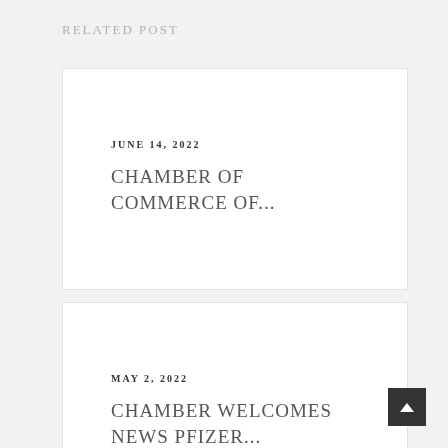RELATED POST
JUNE 14, 2022
CHAMBER OF COMMERCE OF...
MAY 2, 2022
CHAMBER WELCOMES NEWS PFIZER...